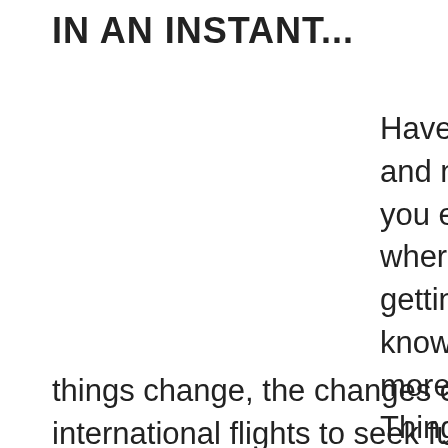IN AN INSTANT...
Have you and not fe you ever h where you getting be know you more med Things ch sometime quickly. A things change, the changes can involve quick dec international flights to seek further answers. Ow weeks, a dear friend and fellow Science teacher